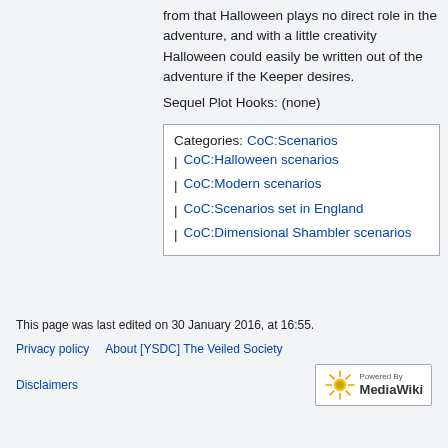from that Halloween plays no direct role in the adventure, and with a little creativity Halloween could easily be written out of the adventure if the Keeper desires.
Sequel Plot Hooks: (none)
Categories: CoC:Scenarios
CoC:Halloween scenarios
CoC:Modern scenarios
CoC:Scenarios set in England
CoC:Dimensional Shambler scenarios
This page was last edited on 30 January 2016, at 16:55.
Privacy policy   About [YSDC] The Veiled Society   Disclaimers